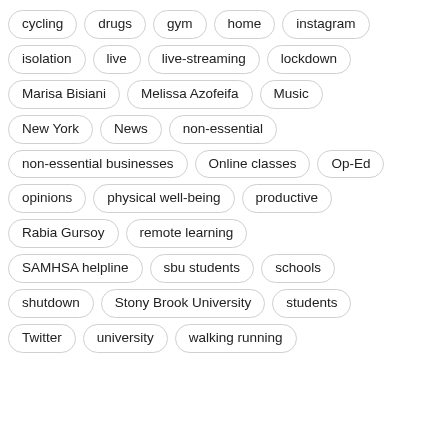cycling
drugs
gym
home
instagram
isolation
live
live-streaming
lockdown
Marisa Bisiani
Melissa Azofeifa
Music
New York
News
non-essential
non-essential businesses
Online classes
Op-Ed
opinions
physical well-being
productive
Rabia Gursoy
remote learning
SAMHSA helpline
sbu students
schools
shutdown
Stony Brook University
students
Twitter
university
walking running